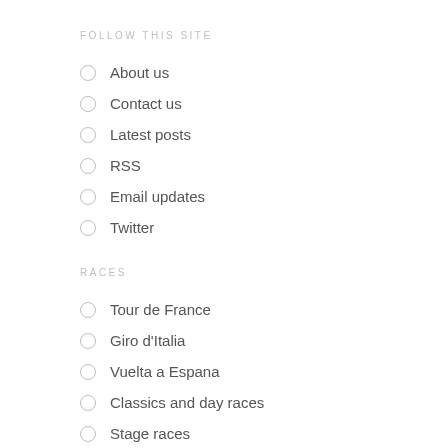FOLLOW THIS SITE
About us
Contact us
Latest posts
RSS
Email updates
Twitter
RACES
Tour de France
Giro d'Italia
Vuelta a Espana
Classics and day races
Stage races
Track cycling
WHAT'S NEW?